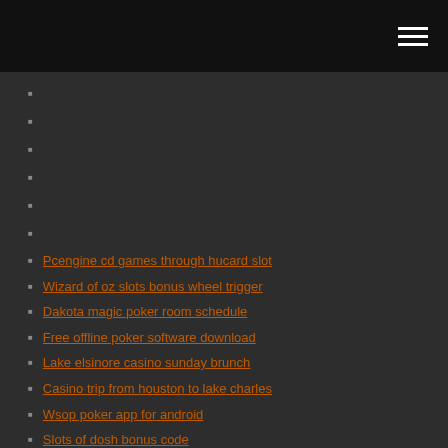Pcengine cd games through hucard slot
Wizard of oz slots bonus wheel trigger
Dakota magic poker room schedule
Free offline poker software download
Lake elsinore casino sunday brunch
Casino trip from houston to lake charles
Wsop poker app for android
Slots of dosh bonus code